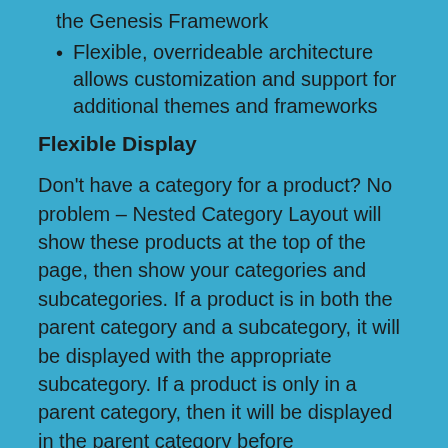the Genesis Framework
Flexible, overrideable architecture allows customization and support for additional themes and frameworks
Flexible Display
Don't have a category for a product? No problem – Nested Category Layout will show these products at the top of the page, then show your categories and subcategories. If a product is in both the parent category and a subcategory, it will be displayed with the appropriate subcategory. If a product is only in a parent category, then it will be displayed in the parent category before subcategories are shown (like this):
How to Get Started